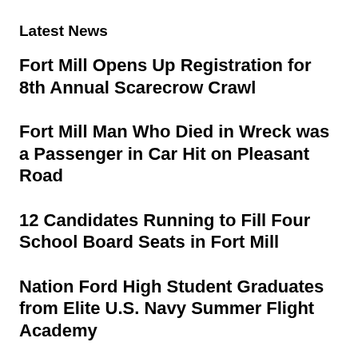Latest News
Fort Mill Opens Up Registration for 8th Annual Scarecrow Crawl
Fort Mill Man Who Died in Wreck was a Passenger in Car Hit on Pleasant Road
12 Candidates Running to Fill Four School Board Seats in Fort Mill
Nation Ford High Student Graduates from Elite U.S. Navy Summer Flight Academy